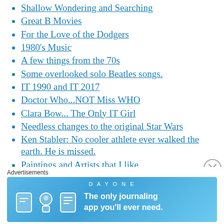Shallow Wondering and Searching
Great B Movies
For the Love of the Dodgers
1980's Music
A few things from the 70s
Some overlooked solo Beatles songs.
IT 1990 and IT 2017
Doctor Who...NOT Miss WHO
Clara Bow... The Only IT Girl
Needless changes to the original Star Wars
Ken Stabler: No cooler athlete ever walked the earth. He is missed.
Paintings and Artists that I like
Rock Music...Where have you gone?
Advertisements
[Figure (infographic): Day One journaling app advertisement banner with icons and text: 'The only journaling app you'll ever need.']